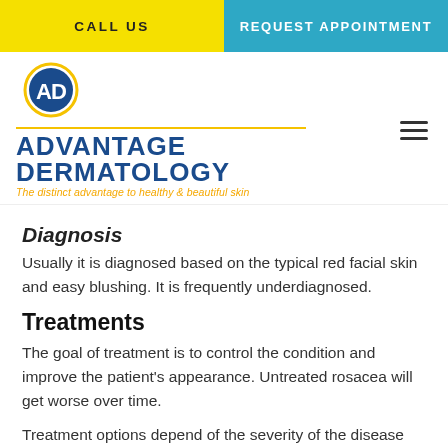CALL US | REQUEST APPOINTMENT
[Figure (logo): Advantage Dermatology logo with circular AD icon, blue text reading ADVANTAGE DERMATOLOGY, and tagline The distinct advantage to healthy & beautiful skin]
Diagnosis
Usually it is diagnosed based on the typical red facial skin and easy blushing. It is frequently underdiagnosed.
Treatments
The goal of treatment is to control the condition and improve the patient's appearance. Untreated rosacea will get worse over time.
Treatment options depend of the severity of the disease and may include...